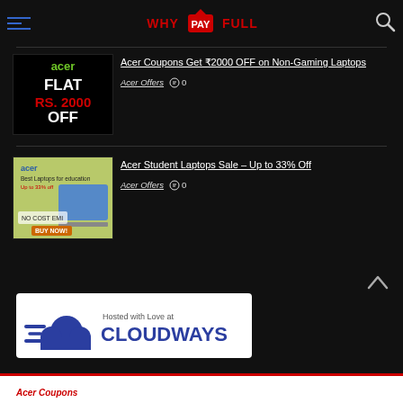WHY PAY FULL
[Figure (illustration): Acer logo with text FLAT RS. 2000 OFF on black background]
Acer Coupons Get ₹2000 OFF on Non-Gaming Laptops
Acer Offers  💬 0
[Figure (illustration): Acer Best Laptops for education up to 33% off, No Cost EMI, Buy Now, green background]
Acer Student Laptops Sale – Up to 33% Off
Acer Offers  💬 0
[Figure (illustration): Cloudways hosted with love banner, white background with blue cloud logo]
Acer Coupons